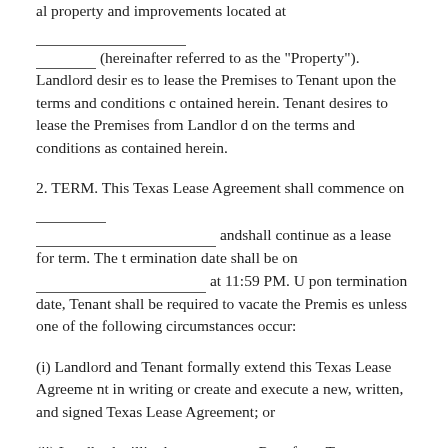al property and improvements located at _______________________ _________ (hereinafter referred to as the "Property"). Landlord desires to lease the Premises to Tenant upon the terms and conditions contained herein. Tenant desires to lease the Premises from Landlord on the terms and conditions as contained herein.
2. TERM. This Texas Lease Agreement shall commence on __________________________ andshall continue as a lease for term. The termination date shall be on ______________________ at 11:59 PM. Upon termination date, Tenant shall be required to vacate the Premises unless one of the following circumstances occur:
(i) Landlord and Tenant formally extend this Texas Lease Agreement in writing or create and execute a new, written, and signed Texas Lease Agreement; or
(ii) Landlord willingly accepts new Rent from Tenant, which does not constitute past due Rent.
In the event that Landlord accepts new rent from Tenant after the termination date, a month-tomonth tenancy shall be created. If at any